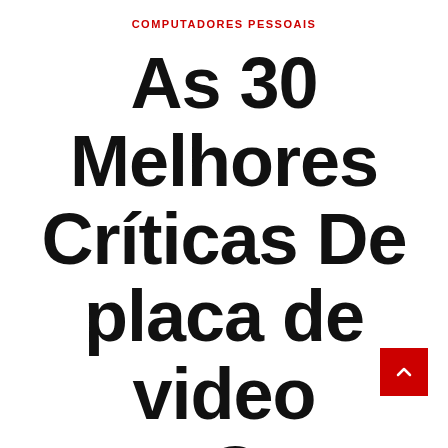COMPUTADORES PESSOAIS
As 30 Melhores Críticas De placa de video gtx Com